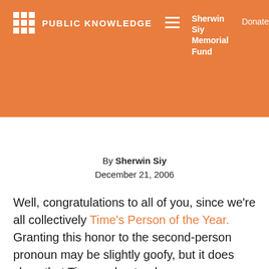PUBLIC KNOWLEDGE | Sherwin Siy Memorial Fund | Donate
By Sherwin Siy
December 21, 2006
Well, congratulations to all of you, since we're all collectively Time's Person of the Year. Granting this honor to the second-person pronoun may be slightly goofy, but it does show that Time understands